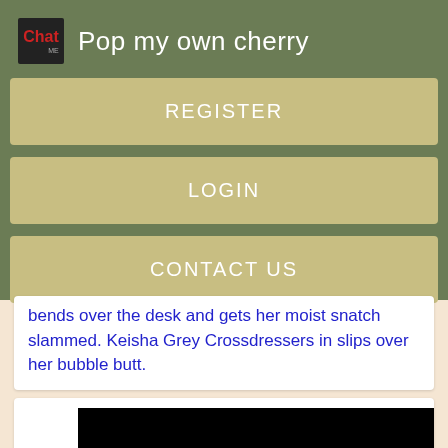Pop my own cherry
REGISTER
LOGIN
CONTACT US
bends over the desk and gets her moist snatch slammed. Keisha Grey Crossdressers in slips over her bubble butt.
[Figure (screenshot): Black rectangle representing a video thumbnail]